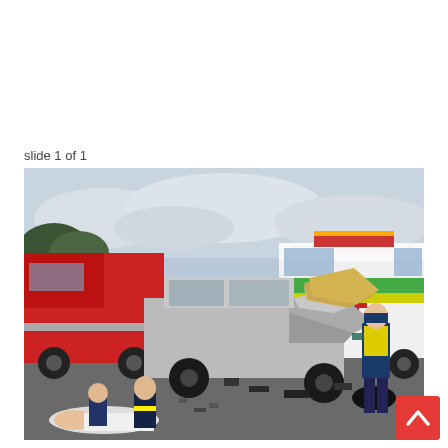slide 1 of 1
[Figure (photo): Road traffic accident scene showing a severely damaged silver car with crumpled front end, a red fire truck on the left, a green and yellow ambulance on the right, emergency responders attending to injured persons on the ground in the foreground, overcast sky in background.]
[Figure (other): Red back-to-top button with white upward chevron arrow in bottom right corner.]